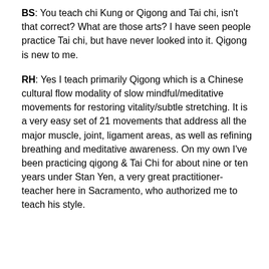BS: You teach chi Kung or Qigong and Tai chi, isn't that correct? What are those arts? I have seen people practice Tai chi, but have never looked into it. Qigong is new to me.
RH: Yes I teach primarily Qigong which is a Chinese cultural flow modality of slow mindful/meditative movements for restoring vitality/subtle stretching. It is a very easy set of 21 movements that address all the major muscle, joint, ligament areas, as well as refining breathing and meditative awareness. On my own I've been practicing qigong & Tai Chi for about nine or ten years under Stan Yen, a very great practitioner-teacher here in Sacramento, who authorized me to teach his style.